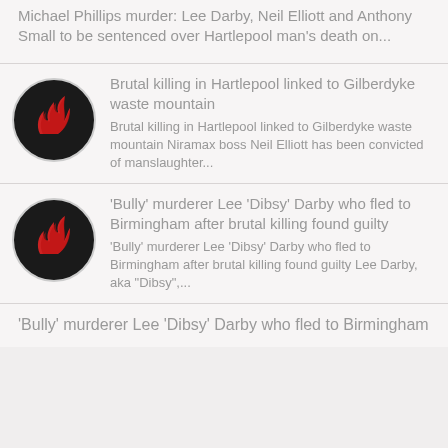Michael Phillips murder: Lee Darby, Neil Elliott and Anthony Small to be sentenced over Hartlepool man's death on...
[Figure (logo): Black circle with red flame logo]
Brutal killing in Hartlepool linked to Gilberdyke waste mountain
Brutal killing in Hartlepool linked to Gilberdyke waste mountain Niramax boss Neil Elliott has been convicted of manslaughter...
[Figure (logo): Black circle with red flame logo]
'Bully' murderer Lee 'Dibsy' Darby who fled to Birmingham after brutal killing found guilty
'Bully' murderer Lee 'Dibsy' Darby who fled to Birmingham after brutal killing found guilty Lee Darby, aka "Dibsy",...
'Bully' murderer Lee 'Dibsy' Darby who fled to Birmingham